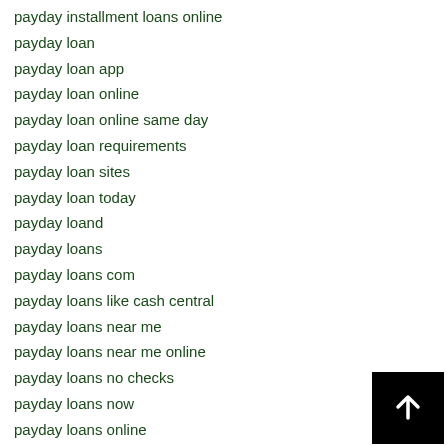payday installment loans online
payday loan
payday loan app
payday loan online
payday loan online same day
payday loan requirements
payday loan sites
payday loan today
payday loand
payday loans
payday loans com
payday loans like cash central
payday loans near me
payday loans near me online
payday loans no checks
payday loans now
payday loans online
payday loans online same day
payday loans pa
[Figure (other): Black square button with white upward arrow (scroll to top button)]